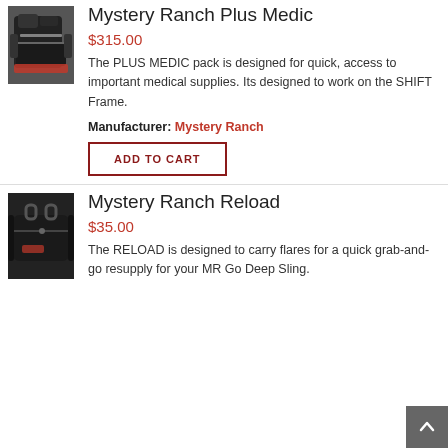Mystery Ranch Plus Medic
$315.00
The PLUS MEDIC pack is designed for quick, access to important medical supplies. Its designed to work on the SHIFT Frame.
Manufacturer: Mystery Ranch
ADD TO CART
Mystery Ranch Reload
$35.00
The RELOAD is designed to carry flares for a quick grab-and-go resupply for your MR Go Deep Sling.